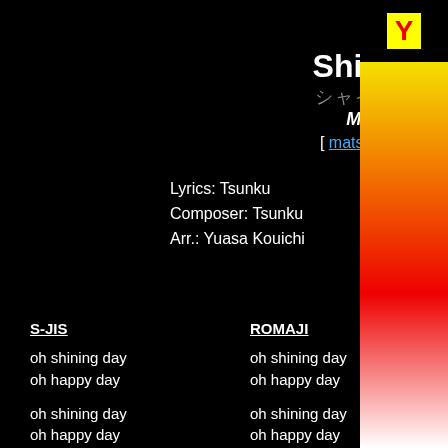Shining Day
シャイニング　デイ
Matsuura Aya
[ matsuura aya || index ]
Lyrics: Tsunku　　作詞：つんく
Composer: Tsunku　作曲：つんく
Arr.: Yuasa Kouichi　編曲：湯浅公一
S-JIS
ROMAJI
TRANSLATION
oh shining day
oh happy day
oh shining day
oh happy day
oh shining day
oh happy day
oh shining day
oh happy day
Not available.